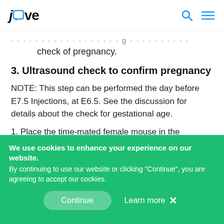JoVe [logo with search and menu icons]
check of pregnancy.
3. Ultrasound check to confirm pregnancy
NOTE: This step can be performed the day before E7.5 Injections, at E6.5. See the discussion for details about the check for gestational age.
1. Place the time-mated female mouse in the
We use cookies to enhance your experience on our website. By continuing to use our website or clicking "Continue", you are agreeing to accept our cookies.